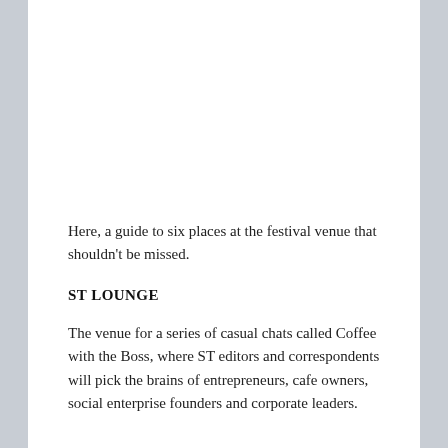Here, a guide to six places at the festival venue that shouldn't be missed.
ST LOUNGE
The venue for a series of casual chats called Coffee with the Boss, where ST editors and correspondents will pick the brains of entrepreneurs, cafe owners, social enterprise founders and corporate leaders.